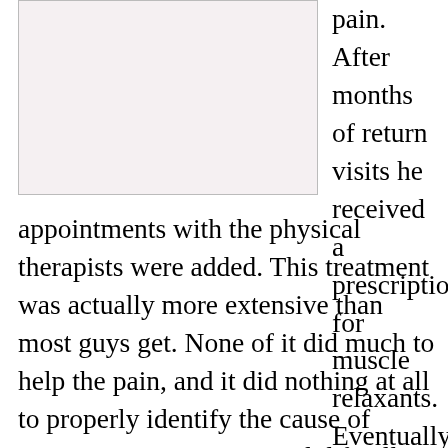[Figure (photo): Photograph placeholder, light pinkish-white background, no clear subject visible]
pain. After months of return visits he received a prescription for muscle relaxants. Eventually weekly appointments with the physical therapists were added. This treatment was actually more extensive than most guys get. None of it did much to help the pain, and it did nothing at all to properly identify the cause of Ramone’s symptoms. He did finally have to dramatically cut back and then cease his exercise regimen. He kept asking for an x-ray or MRI scan. He was repeatedly refused. After receiving news from what he considered a reliable source, Ramone decided to stop seeing a doctor